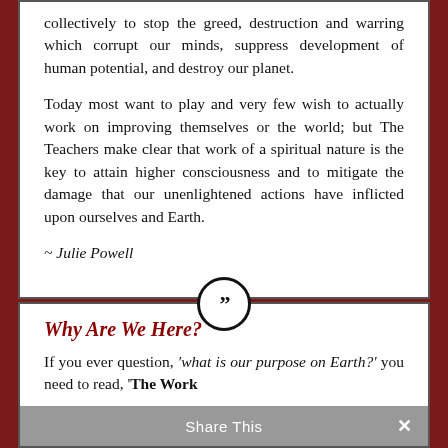collectively to stop the greed, destruction and warring which corrupt our minds, suppress development of human potential, and destroy our planet.
Today most want to play and very few wish to actually work on improving themselves or the world; but The Teachers make clear that work of a spiritual nature is the key to attain higher consciousness and to mitigate the damage that our unenlightened actions have inflicted upon ourselves and Earth.
~ Julie Powell
[Figure (other): Circular quotation mark icon with double closing quotes inside a black-bordered circle, used as a decorative section divider]
Why Are We Here?
If you ever question, 'what is our purpose on Earth?' you need to read, 'The Work
Share This